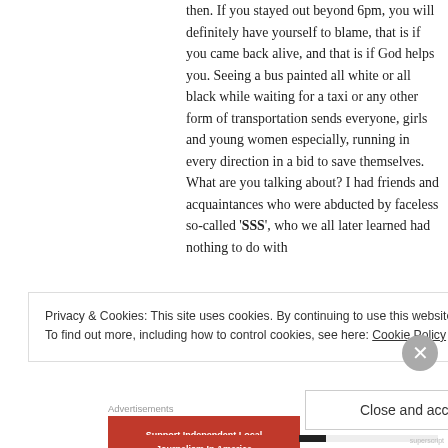then. If you stayed out beyond 6pm, you will definitely have yourself to blame, that is if you came back alive, and that is if God helps you. Seeing a bus painted all white or all black while waiting for a taxi or any other form of transportation sends everyone, girls and young women especially, running in every direction in a bid to save themselves. What are you talking about? I had friends and acquaintances who were abducted by faceless so-called 'SSS', who we all later learned had nothing to do with … some were found after some …
Privacy & Cookies: This site uses cookies. By continuing to use this website, you agree to their use. To find out more, including how to control cookies, see here: Cookie Policy
Close and accept